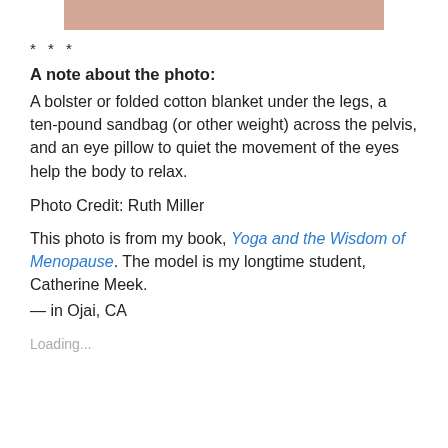[Figure (photo): Partial view of a photo strip at the top of the page, showing a blurred pinkish/skin-tone image]
* * *
A note about the photo:
A bolster or folded cotton blanket under the legs, a ten-pound sandbag (or other weight) across the pelvis, and an eye pillow to quiet the movement of the eyes help the body to relax.
Photo Credit: Ruth Miller
This photo is from my book, Yoga and the Wisdom of Menopause. The model is my longtime student, Catherine Meek.
— in Ojai, CA
Loading...